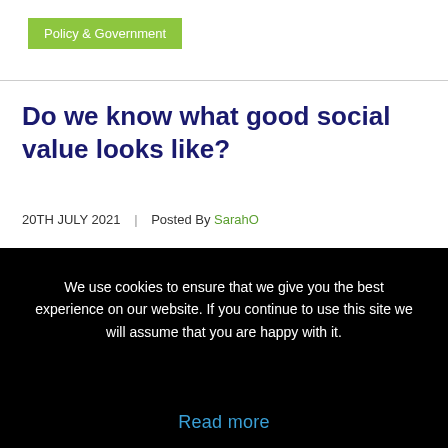Policy & Government
Do we know what good social value looks like?
20TH JULY 2021 | Posted By SarahO
We use cookies to ensure that we give you the best experience on our website. If you continue to use this site we will assume that you are happy with it.
Accept   Refuse
Read more